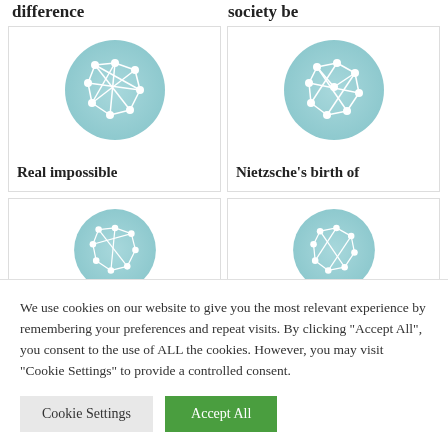difference
society be
[Figure (illustration): Teal circle with white network/graph nodes and edges icon]
[Figure (illustration): Teal circle with white network/graph nodes and edges icon]
Real impossible
Nietzsche's birth of
[Figure (illustration): Teal circle with white network/graph nodes and edges icon, cropped]
[Figure (illustration): Teal circle with white network/graph nodes and edges icon, cropped]
We use cookies on our website to give you the most relevant experience by remembering your preferences and repeat visits. By clicking "Accept All", you consent to the use of ALL the cookies. However, you may visit "Cookie Settings" to provide a controlled consent.
Cookie Settings
Accept All